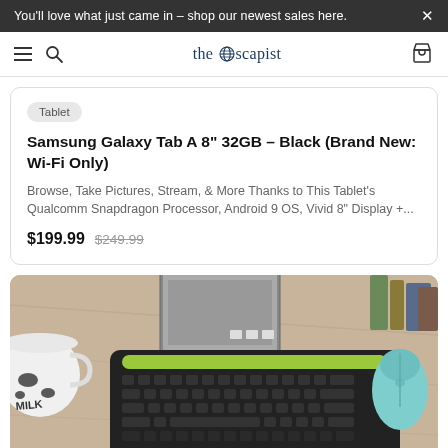You'll love what just came in – shop our newest sales here.
[Figure (logo): The Escapist logo with hamburger menu, search icon, and cart icon in navigation bar]
Tablet
Samsung Galaxy Tab A 8" 32GB – Black (Brand New: Wi-Fi Only)
Browse, Take Pictures, Stream, & More Thanks to This Tablet's Qualcomm Snapdragon Processor, Android 9 OS, Vivid 8" Display +...
$199.99  $249.99
[Figure (photo): Product photo of a black Logitech wireless keyboard with green accent strip, a teal wireless mouse, a white mug with cow print, and a tablet on a wooden desk surface]